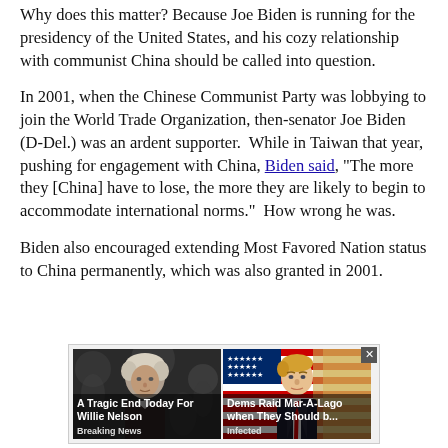Why does this matter?  Because Joe Biden is running for the presidency of the United States, and his cozy relationship with communist China should be called into question.
In 2001, when the Chinese Communist Party was lobbying to join the World Trade Organization, then-senator Joe Biden (D-Del.) was an ardent supporter.  While in Taiwan that year, pushing for engagement with China, Biden said, "The more they [China] have to lose, the more they are likely to begin to accommodate international norms."  How wrong he was.
Biden also encouraged extending Most Favored Nation status to China permanently, which was also granted in 2001.
[Figure (screenshot): Advertisement panel with two clickbait thumbnail images side by side. Left: older man with white hair (Willie Nelson) with caption 'A Tragic End Today For Willie Nelson / Breaking News'. Right: man in suit (appears to be Trump) with caption 'Dems Raid Mar-A-Lago when They Should b... / Infected'. A close (x) button appears in the top right corner.]